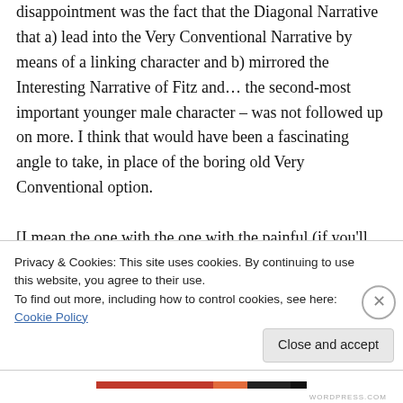disappointment was the fact that the Diagonal Narrative that a) lead into the Very Conventional Narrative by means of a linking character and b) mirrored the Interesting Narrative of Fitz and… the second-most important younger male character – was not followed up on more. I think that would have been a fascinating angle to take, in place of the boring old Very Conventional option.
[I mean the one with the one with the painful (if you'll forgive the pun) name]
Privacy & Cookies: This site uses cookies. By continuing to use this website, you agree to their use.
To find out more, including how to control cookies, see here: Cookie Policy